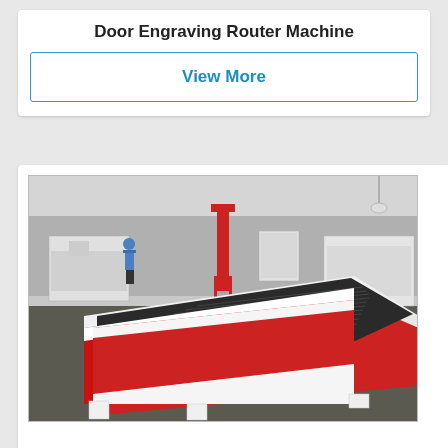Door Engraving Router Machine
View More
[Figure (photo): A CNC door engraving router machine with a large flat red and white table bed with grooved dark surface, shown in a factory/warehouse setting. A worker is visible in the background along with other machines.]